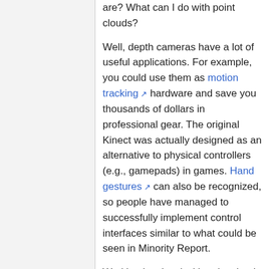are? What can I do with point clouds? Well, depth cameras have a lot of useful applications. For example, you could use them as motion tracking hardware and save you thousands of dollars in professional gear. The original Kinect was actually designed as an alternative to physical controllers (e.g., gamepads) in games. Hand gestures can also be recognized, so people have managed to successfully implement control interfaces similar to what could be seen in Minority Report. Working low-level with point clouds offers interesting possibilities too. As they are essentially a 3D "scan" or the scene, you could capture your whole room as a continuous 3D mesh, then import it in your modelling software of choice and use it as a reference for a